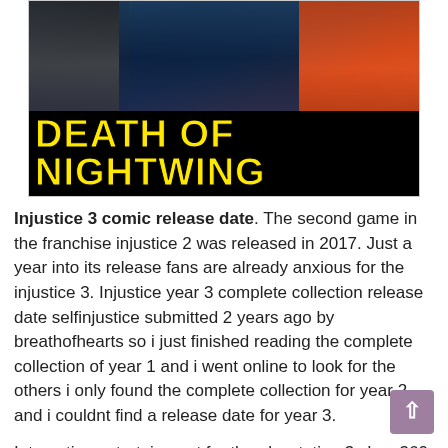[Figure (illustration): Comic book artwork showing Batman on the left, Nightwing in the center foreground, and another character on the right, with large yellow text 'DEATH OF NIGHTWING' across the bottom on a black background.]
Injustice 3 comic release date. The second game in the franchise injustice 2 was released in 2017. Just a year into its release fans are already anxious for the injustice 3. Injustice year 3 complete collection release date selfinjustice submitted 2 years ago by breathofhearts so i just finished reading the complete collection of year 1 and i went online to look for the others i only found the complete collection for year 2 and i couldnt find a release date for year 3.
Interactive entertainment for the playstation 3 xbox 360 and wii u. Return of the gods green lantern injustice. Gods among us fighting video game.